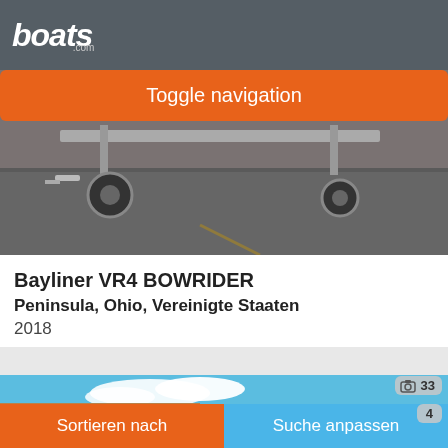boats.com
Toggle navigation
[Figure (photo): Photo of a boat trailer undercarriage with wheels and metal frame on a dark pavement parking lot background.]
Bayliner VR4 BOWRIDER
Peninsula, Ohio, Vereinigte Staaten
2018
€35.299
Verkäufer Buckeye Sports Center
[Figure (photo): Photo of a building exterior with blue sky and clouds, appears to be a marine dealership or sports center.]
33
4
Sortieren nach  Suche anpassen